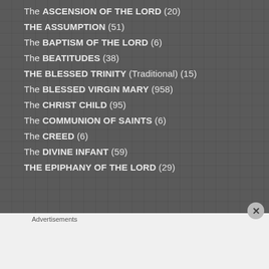The ASCENSION of the LORD (20)
THE ASSUMPTION (51)
The BAPTISM of the LORD (6)
The BEATITUDES (38)
THE BLESSED TRINITY (Traditional) (15)
The BLESSED VIRGIN MARY (958)
The CHRIST CHILD (95)
The COMMUNION of SAINTS (6)
The CREED (6)
The DIVINE INFANT (59)
THE EPIPHANY of the LORD (29)
Advertisements
[Figure (infographic): Macy's advertisement: red background with woman, text 'KISS BORING LIPS GOODBYE', SHOP NOW button and Macy's star logo]